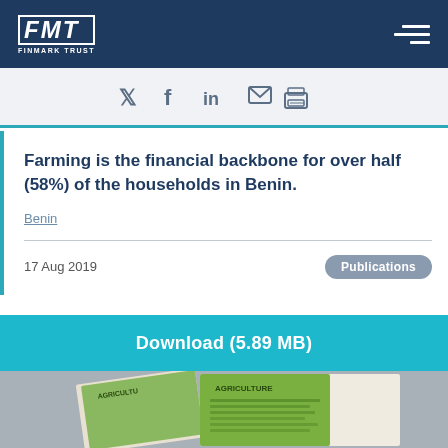FMT FINMARK TRUST
[Figure (infographic): Social media sharing icons: Twitter, Facebook, LinkedIn, email, print]
Farming is the financial backbone for over half (58%) of the households in Benin.
Benin
17 Aug 2019
Publications
Download (5.89 MB)
[Figure (photo): Agriculture publication documents with green infographic design showing AGRICULTURE heading]